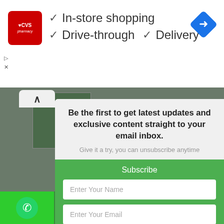[Figure (screenshot): CVS Pharmacy advertisement banner with checkmarks for In-store shopping, Drive-through, and Delivery services, with a blue navigation diamond icon]
Be the first to get latest updates and exclusive content straight to your email inbox.
Give it a try, you can unsubscribe anytime
Subscribe
Enter Your Name
Enter Your Email
SUBSCRIBE NOW
We respect your privacy.